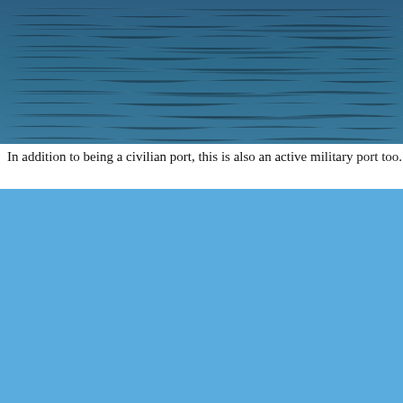[Figure (photo): Dark blue ocean/sea water surface texture with ripples and waves, viewed from above or at a low angle.]
In addition to being a civilian port, this is also an active military port too.
[Figure (photo): Solid light blue sky with no clouds, uniform cornflower blue color filling the entire frame.]